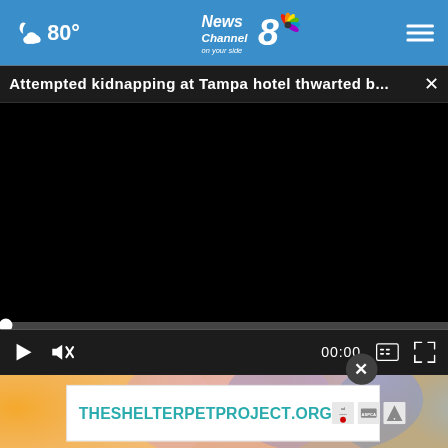80° News Channel 8 on your side
Attempted kidnapping at Tampa hotel thwarted b...
[Figure (screenshot): Black video player area showing a paused video with progress bar at zero and controls including play button, mute, timecode 00:00, captions, and fullscreen buttons]
[Figure (photo): Colorful blurred background image with orange, pink, purple and blue tones, partially visible]
[Figure (other): Advertisement overlay showing THESHELTERPETPROJECT.ORG with ad council and partner logos, with a dark circular close button above it]